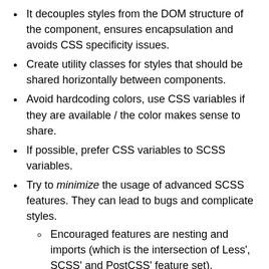It decouples styles from the DOM structure of the component, ensures encapsulation and avoids CSS specificity issues.
Create utility classes for styles that should be shared horizontally between components.
Avoid hardcoding colors, use CSS variables if they are available / the color makes sense to share.
If possible, prefer CSS variables to SCSS variables.
Try to minimize the usage of advanced SCSS features. They can lead to bugs and complicate styles.
Encouraged features are nesting and imports (which is the intersection of Less', SCSS' and PostCSS' feature set).
Think about mobile at least so much that no feature breaks when the browser window is resized.